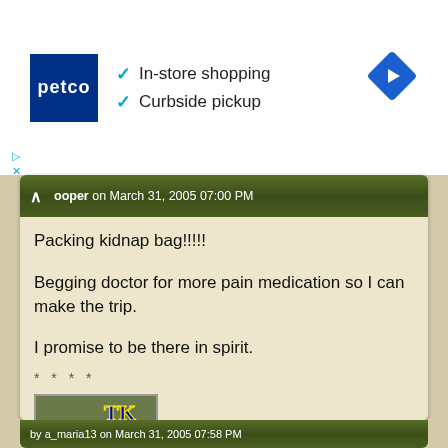[Figure (screenshot): Petco advertisement banner with logo, checkmarks for In-store shopping and Curbside pickup, and a blue navigation diamond icon]
ooper on March 31, 2005 07:00 PM
Packing kidnap bag!!!!!
Begging doctor for more pain medication so I can make the trip.
I promise to be there in spirit.
* * * *
[Figure (photo): Forum avatar showing a squirrel with TK text overlay and *5000 Posts* badge below]